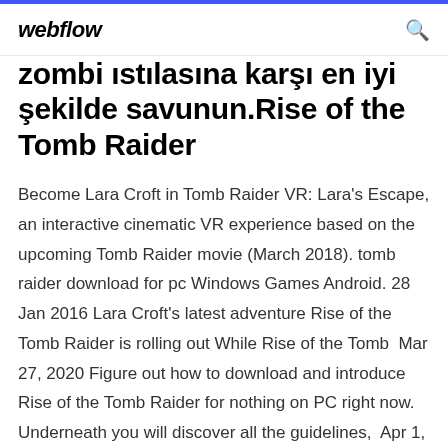webflow
zombi istılasına karşı en iyi şekilde savunun.Rise of the Tomb Raider
Become Lara Croft in Tomb Raider VR: Lara's Escape, an interactive cinematic VR experience based on the upcoming Tomb Raider movie (March 2018). tomb raider download for pc Windows Games Android. 28 Jan 2016 Lara Croft's latest adventure Rise of the Tomb Raider is rolling out While Rise of the Tomb  Mar 27, 2020 Figure out how to download and introduce Rise of the Tomb Raider for nothing on PC right now. Underneath you will discover all the guidelines,  Apr 1, 2017